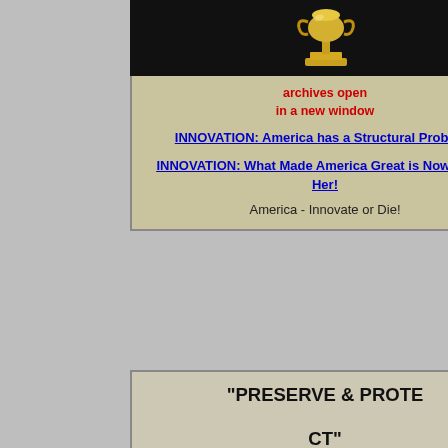[Figure (photo): Gold trophy/award statue on black background]
archives open
in a new window
INNOVATION: America has a Structural Problem!
INNOVATION: What Made America Great is Now Killing Her!
America - Innovate or Die!
"PRESERVE & PROTECT"
Read the series...
[Figure (infographic): Tectonic Shift 2007-2013 diagram showing political and economic crisis cycles with arrows]
FOM
[Figure (continuous-plot): Stock market chart showing price movements, with time axis showing 16:00 and 08:00 on 17 Dec]
Emer
F
Seems to have been ex
*BRAZIL ROUS
A Bill that could cost B
Brazil's bigger- control around Sul America, sa